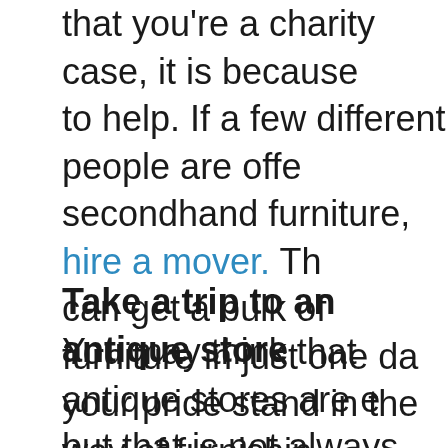that you're a charity case, it is because to help. If a few different people are offering secondhand furniture, hire a mover. The can get a bulk of furniture in just one day your pride stand in the way of furnishing home.
Take a trip to an antique store
You may think that antique stores are expensive, but that is not always true. Sometimes some fantastic bargains in antique stores have the patience to search for them. When visit an antique store, it is a good idea to have a game plan. Decide what you are looking for before you start searching for it.